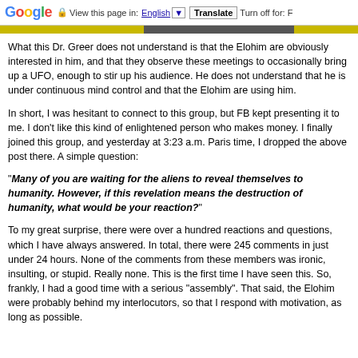Google  View this page in: English [v]  Translate  Turn off for: F
What this Dr. Greer does not understand is that the Elohim are obviously interested in him, and that they observe these meetings to occasionally bring up a UFO, enough to stir up his audience. He does not understand that he is under continuous mind control and that the Elohim are using him.
In short, I was hesitant to connect to this group, but FB kept presenting it to me. I don’t like this kind of enlightened person who makes money. I finally joined this group, and yesterday at 3:23 a.m. Paris time, I dropped the above post there. A simple question:
"Many of you are waiting for the aliens to reveal themselves to humanity. However, if this revelation means the destruction of humanity, what would be your reaction?"
To my great surprise, there were over a hundred reactions and questions, which I have always answered. In total, there were 245 comments in just under 24 hours. None of the comments from these members was ironic, insulting, or stupid. Really none. This is the first time I have seen this. So, frankly, I had a good time with a serious "assembly". That said, the Elohim were probably behind my interlocutors, so that I respond with motivation, as long as possible.